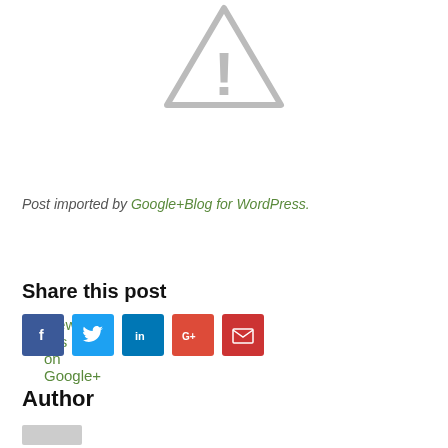[Figure (illustration): Warning triangle icon with exclamation mark, grey colored]
View this post on Google+
Post imported by Google+Blog for WordPress.
Share this post
[Figure (infographic): Social media share buttons: Facebook (f), Twitter (bird), LinkedIn (in), Google+ (G+), Email (envelope)]
Author
[Figure (photo): Author avatar image placeholder]